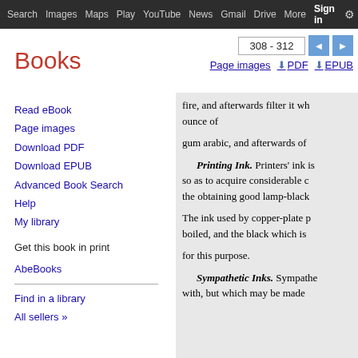Search  Images  Maps  Play  YouTube  News  Gmail  Drive  More  Sign in
Books
Read eBook
Page images
Download PDF
Download EPUB
Advanced Book Search
Help
My library
Get this book in print
AbeBooks
Find in a library
All sellers »
308 - 312
Page images  PDF  EPUB
fire, and afterwards filter it wh ounce of

gum arabic, and afterwards of

Printing Ink. Printers' ink is so as to acquire considerable c the obtaining good lamp-black

The ink used by copper-plate p boiled, and the black which is

for this purpose.

Sympathetic Inks. Sympathe with, but which may be made